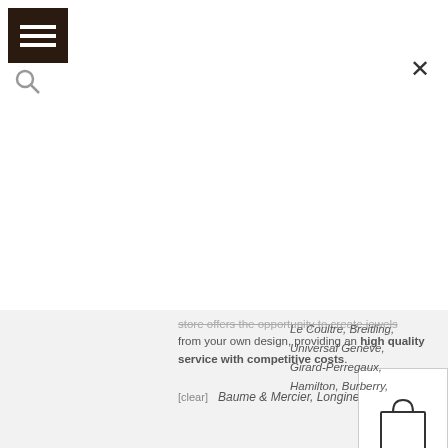[Figure (screenshot): Dark brown menu/hamburger icon button with three white horizontal lines on dark background]
[Figure (screenshot): Search magnifier icon (gray)]
[Figure (screenshot): Close (X) button top right]
store offers the opportunity to create jewels from your own design, providing an high quality service with competitive costs.
[clear]   Baume & Mercier, Longines,
[Figure (illustration): Shopping bag icon inside a bordered square box]
Le Coultre, Breitling, Universal Genéve, Girard-Perregaux, Hamilton, Burberry,